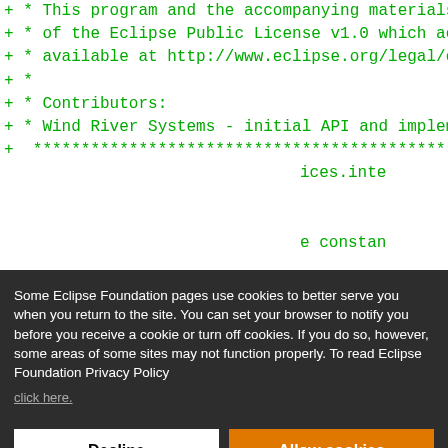+ * This program and the accompanying materials
+ * of the Eclipse Public License v1.0 which acco
+ * available at http://www.eclipse.org/legal/epl
+ *
+ * Contributors:
+ * Wind River Systems - initial API and impleme
Some Eclipse Foundation pages use cookies to better serve you when you return to the site. You can set your browser to notify you before you receive a cookie or turn off cookies. If you do so, however, some areas of some sites may not function properly. To read Eclipse Foundation Privacy Policy
click here.
Decline
Allow cookies